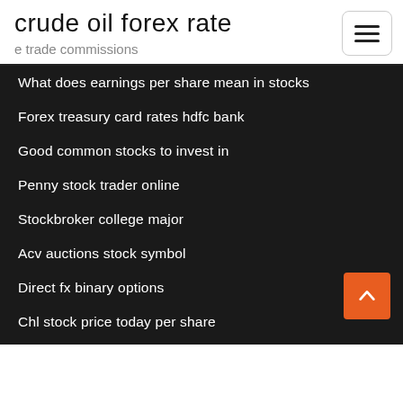crude oil forex rate
e trade commissions
What does earnings per share mean in stocks
Forex treasury card rates hdfc bank
Good common stocks to invest in
Penny stock trader online
Stockbroker college major
Acv auctions stock symbol
Direct fx binary options
Chl stock price today per share
How to get real time stock quotes in excel
Forex beginners reddit